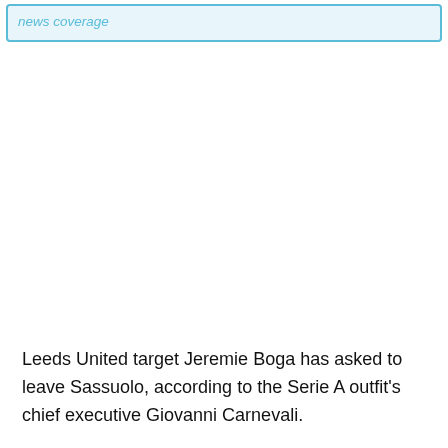news coverage
Leeds United target Jeremie Boga has asked to leave Sassuolo, according to the Serie A outfit's chief executive Giovanni Carnevali.